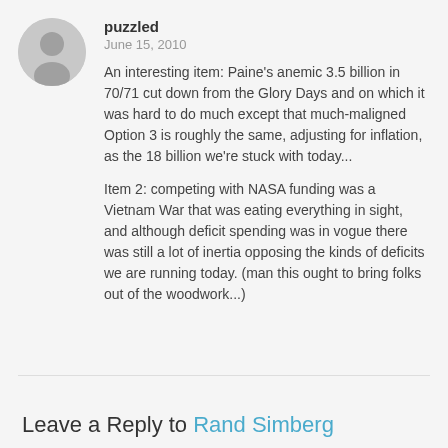puzzled
June 15, 2010
An interesting item: Paine's anemic 3.5 billion in 70/71 cut down from the Glory Days and on which it was hard to do much except that much-maligned Option 3 is roughly the same, adjusting for inflation, as the 18 billion we're stuck with today...
Item 2: competing with NASA funding was a Vietnam War that was eating everything in sight, and although deficit spending was in vogue there was still a lot of inertia opposing the kinds of deficits we are running today. (man this ought to bring folks out of the woodwork...)
Cancel
Leave a Reply to Rand Simberg
Name*
E-Mail*